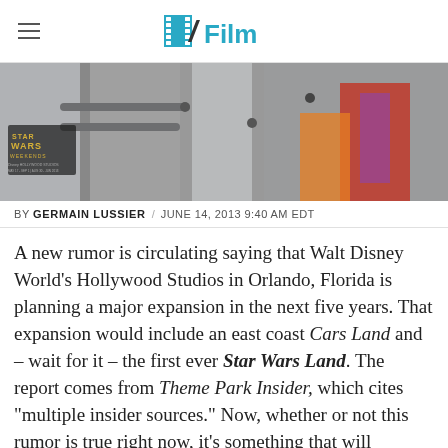/Film
[Figure (photo): Star Wars Weekends sign at Disney Hollywood Studios with a costumed character (person in red/orange robes) entering through turnstiles.]
BY GERMAIN LUSSIER / JUNE 14, 2013 9:40 AM EDT
A new rumor is circulating saying that Walt Disney World's Hollywood Studios in Orlando, Florida is planning a major expansion in the next five years. That expansion would include an east coast Cars Land and – wait for it – the first ever Star Wars Land. The report comes from Theme Park Insider, which cites "multiple insider sources." Now, whether or not this rumor is true right now, it's something that will